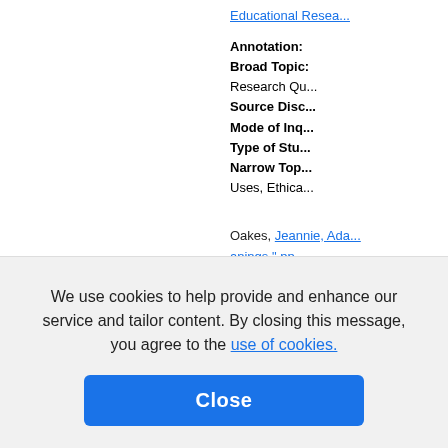Educational Research...
Annotation:
Broad Topic:
Research Qu...
Source Disc...
Mode of Inq...
Type of Stu...
Narrow Top...
Uses, Ethica...
Oakes, Jeannie, Ada... anings," pp. ... an, 1992., Je...
Annotation:
consequence...
Broad Topic:
Defining Cur...
Source Disc...
Mode of Inq...
We use cookies to help provide and enhance our service and tailor content. By closing this message, you agree to the use of cookies.